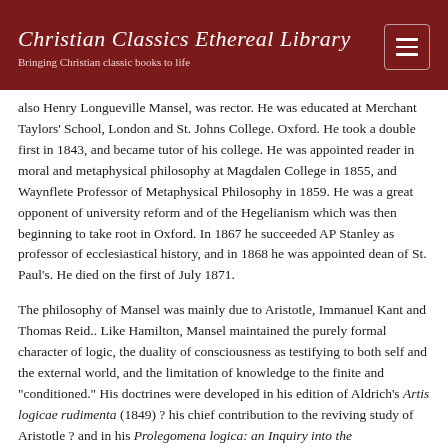Christian Classics Ethereal Library
Bringing Christian classic books to life
also Henry Longueville Mansel, was rector. He was educated at Merchant Taylors' School, London and St. Johns College. Oxford. He took a double first in 1843, and became tutor of his college. He was appointed reader in moral and metaphysical philosophy at Magdalen College in 1855, and Waynflete Professor of Metaphysical Philosophy in 1859. He was a great opponent of university reform and of the Hegelianism which was then beginning to take root in Oxford. In 1867 he succeeded AP Stanley as professor of ecclesiastical history, and in 1868 he was appointed dean of St. Paul's. He died on the first of July 1871.
The philosophy of Mansel was mainly due to Aristotle, Immanuel Kant and Thomas Reid.. Like Hamilton, Mansel maintained the purely formal character of logic, the duality of consciousness as testifying to both self and the external world, and the limitation of knowledge to the finite and "conditioned." His doctrines were developed in his edition of Aldrich's Artis logicae rudimenta (1849) ? his chief contribution to the reviving study of Aristotle ? and in his Prolegomena logica: an Inquiry into the Psychological Character of Logical Processes (1851), in